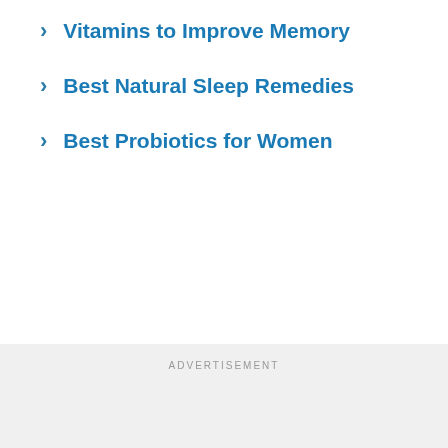Vitamins to Improve Memory
Best Natural Sleep Remedies
Best Probiotics for Women
ADVERTISEMENT